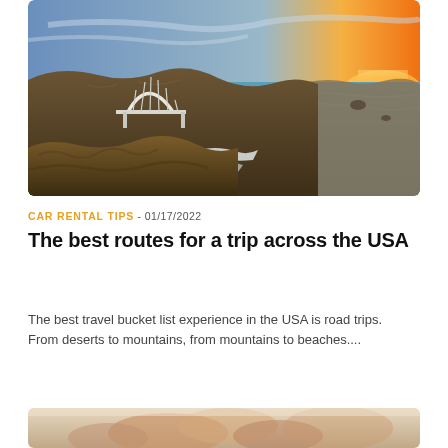[Figure (photo): Aerial coastal landscape photograph showing a white arched bridge (Bixby Bridge) spanning a rocky canyon along a dramatic California coastline at sunset, with golden cliffs in the foreground and turquoise ocean and orange-lit sky in the background.]
CAR RENTAL TIPS - 01/17/2022
The best routes for a trip across the USA
The best travel bucket list experience in the USA is road trips. From deserts to mountains, from mountains to beaches....
[Figure (photo): Partial photo showing a close-up of hands, suggesting a travel or lifestyle context, cropped at the bottom of the page.]